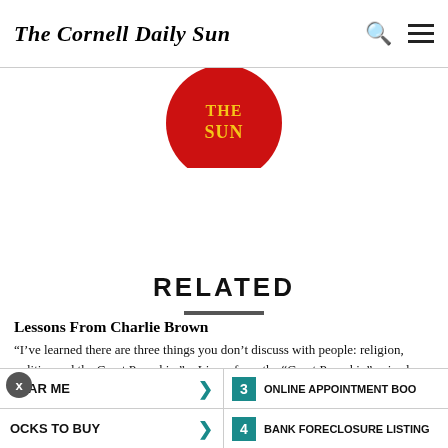The Cornell Daily Sun
[Figure (logo): The Cornell Daily Sun circular logo, red background with yellow text]
RELATED
Lessons From Charlie Brown
“I’ve learned there are three things you don’t discuss with people: religion, politics and the Great Pumpkin.”    Linus, from the “Great Pumpkin” episode. Linus is right. In this article, you will not find a discussion of the recent abortion protest on Ho Plaza or the nomination of Samuel Alito to the Supreme Courts. I will save that task to the Sun’s editorial contributors. But the Great Pumpkin    why can’t I write about the Great Pumpkin? And why does Linus deem the pumpkin to be “great,” in the same category of reverence as religion and politics? True, the pumpkin is unavoidable this time
NEAR ME
JOCKS TO BUY
3 ONLINE APPOINTMENT BOO
4 BANK FORECLOSURE LISTING